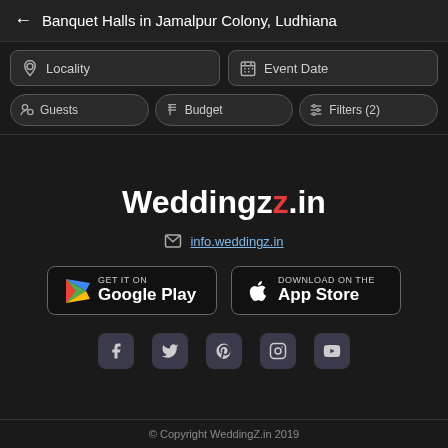← Banquet Halls in Jamalpur Colony, Ludhiana
Locality | Event Date | Guests | Budget | Filters (2)
[Figure (logo): Weddingz.in logo in bold white text with red 'z']
info.weddingz.in
[Figure (screenshot): Google Play store download button]
[Figure (screenshot): Apple App Store download button]
[Figure (infographic): Social media icons: Facebook, Twitter, Pinterest, Instagram, YouTube]
© Copyright WeddingZ.in 2019